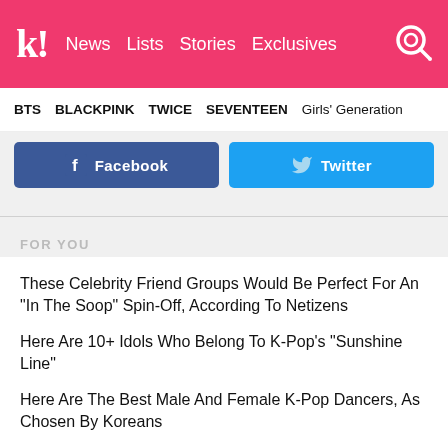k! News Lists Stories Exclusives
BTS BLACKPINK TWICE SEVENTEEN Girls' Generation
[Figure (screenshot): Facebook and Twitter social share buttons]
FOR YOU
These Celebrity Friend Groups Would Be Perfect For An "In The Soop" Spin-Off, According To Netizens
Here Are 10+ Idols Who Belong To K-Pop's "Sunshine Line"
Here Are The Best Male And Female K-Pop Dancers, As Chosen By Koreans
BLACKPINK Lights Up Seoul, New York, And Los Angeles In Pink Ahead Of Their "Pink Venom" Release